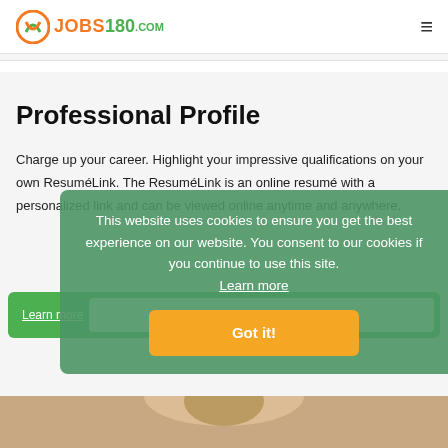JOBS180.COM
Professional Profile
Charge up your career. Highlight your impressive qualifications on your own ResuméLink. The ResuméLink is an online resumé with a personalized link and can be viewed online anytime and anywhere.
This website uses cookies to ensure you get the best experience on our website. You consent to our cookies if you continue to use this site. Learn more
[Figure (other): Got it! button - orange rounded rectangle with white bold text]
[Figure (photo): Partial photo of a person at the bottom of the page]